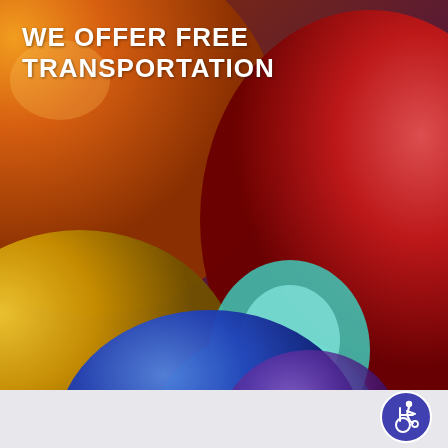[Figure (photo): Close-up photograph of colorful balloons: a large orange balloon top-left, a large red balloon on the right, a yellow balloon bottom-left, a blue balloon bottom-center, and a teal/cyan balloon in the middle background.]
WE OFFER FREE TRANSPORTATION
[Figure (logo): Wheelchair accessibility icon — white figure in wheelchair inside a blue circle with white border.]